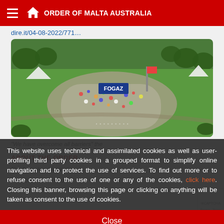ORDER OF MALTA AUSTRALIA
dire.it/04-08-2022/771...
[Figure (photo): Aerial drone view of a large outdoor gathering of people on a green field with trees, tents, and a FOGAZ banner. The crowd appears to be at an organized event.]
This website uses technical and assimilated cookies as well as user-profiling third party cookies in a grouped format to simplify online navigation and to protect the use of services. To find out more or to refuse consent to the use of one or any of the cookies, click here. Closing this banner, browsing this page or clicking on anything will be taken as consent to the use of cookies.
Close